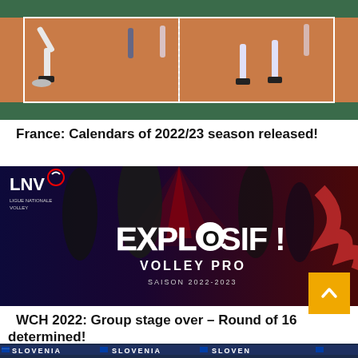[Figure (photo): Volleyball players on an orange/red indoor court warming up or training, legs and feet visible, bleachers in background]
France: Calendars of 2022/23 season released!
[Figure (photo): LNV (Ligue Nationale de Volley) promotional banner for Volley Pro 2022-2023 season with text 'EXPLOSIF! VOLLEY PRO SAISON 2022-2023' on dark red/blue background with players]
WCH 2022: Group stage over – Round of 16 determined!
[Figure (photo): Volleyball arena scoreboard showing SLOVENIA team name repeated, crowd visible below]